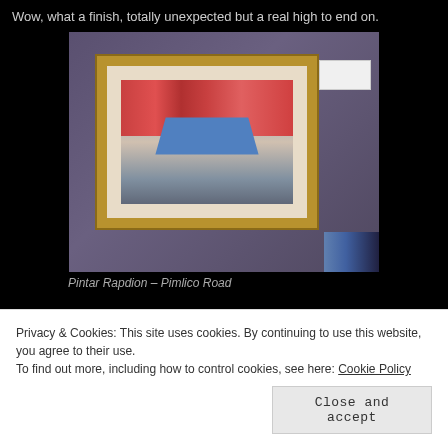Wow, what a finish, totally unexpected but a real high to end on.
[Figure (photo): A framed watercolour painting hanging on a grey/purple textured wall. The painting depicts a street market scene on Pimlico Road with a blue tent, red buildings, and figures. A white label card is visible on the wall to the right of the frame.]
Pintar Rapdion – Pimlico Road
Privacy & Cookies: This site uses cookies. By continuing to use this website, you agree to their use.
To find out more, including how to control cookies, see here: Cookie Policy
Close and accept